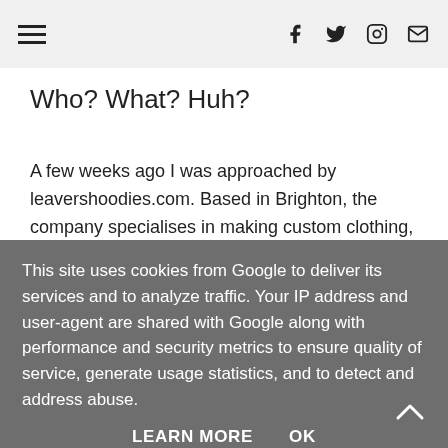Navigation and social icons header
Who? What? Huh?
A few weeks ago I was approached by leavershoodies.com. Based in Brighton, the company specialises in making custom clothing, from hoodies and t-shirts to jackets and even onesies. They asked if I would like them to embroider my blog logo on a clothing item of my choice in return for a review, and I jumped at the chance.
This site uses cookies from Google to deliver its services and to analyze traffic. Your IP address and user-agent are shared with Google along with performance and security metrics to ensure quality of service, generate usage statistics, and to detect and address abuse.
LEARN MORE    OK